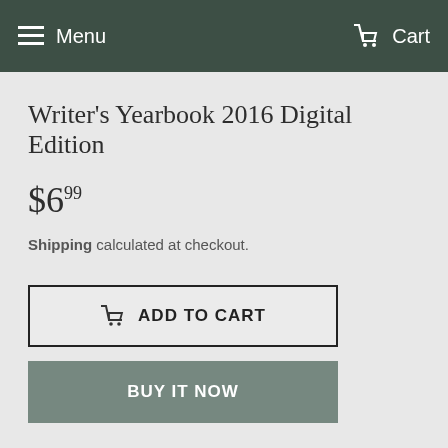Menu  Cart
Writer's Yearbook 2016 Digital Edition
$6.99
Shipping calculated at checkout.
ADD TO CART
BUY IT NOW
Writer's Digest presents: